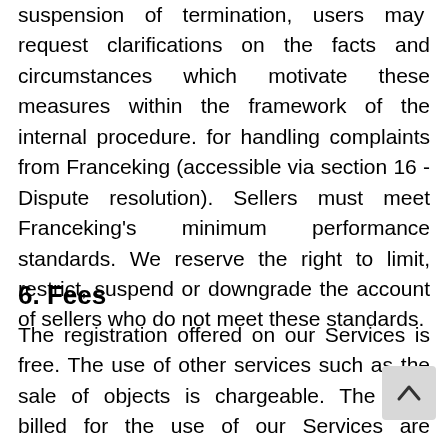suspension or termination, users may request clarifications on the facts and circumstances which motivate these measures within the framework of the internal procedure. for handling complaints from Franceking (accessible via section 16 - Dispute resolution). Sellers must meet Franceking's minimum performance standards. We reserve the right to limit, restrict, suspend or downgrade the account of sellers who do not meet these standards.
6. Fees
The registration offered on our Services is free. The use of other services such as the sale of objects is chargeable. The fees billed for the use of our Services are detailed in our sales fees policy. Franceking may be required to modify the fees by publishing these changes on its site or in the Messages secti of Franceking, 15 days in advance. You can